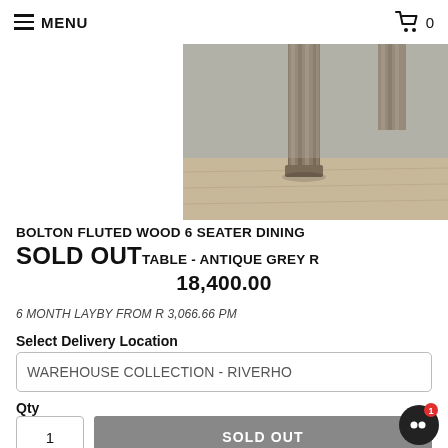MENU   🛒 0
[Figure (photo): Close-up photo of a wooden dining table leg with fluted/ridged detail, against a concrete wall, on a light wood floor. The wood has an antique grey finish.]
BOLTON FLUTED WOOD 6 SEATER DINING TABLE - ANTIQUE GREY R 18,400.00
SOLD OUT
6 MONTH LAYBY FROM R 3,066.66 PM
Select Delivery Location
WAREHOUSE COLLECTION - RIVERHO
Qty
1
SOLD OUT